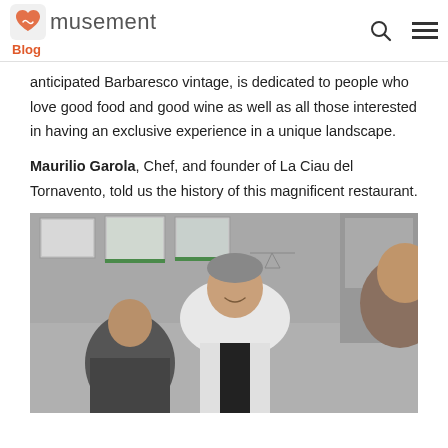musement Blog
anticipated Barbaresco vintage, is dedicated to people who love good food and good wine as well as all those interested in having an exclusive experience in a unique landscape.
Maurilio Garola, Chef, and founder of La Ciau del Tornavento, told us the history of this magnificent restaurant.
[Figure (photo): Chef Maurilio Garola smiling in the kitchen wearing a white chef's jacket and black apron, with kitchen staff working in the background and framed photos on the wall behind.]